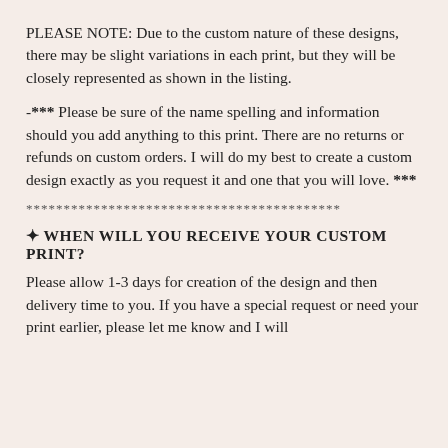PLEASE NOTE: Due to the custom nature of these designs, there may be slight variations in each print, but they will be closely represented as shown in the listing.
-*** Please be sure of the name spelling and information should you add anything to this print. There are no returns or refunds on custom orders. I will do my best to create a custom design exactly as you request it and one that you will love. ***
******************************************
✦ WHEN WILL YOU RECEIVE YOUR CUSTOM PRINT?
Please allow 1-3 days for creation of the design and then delivery time to you. If you have a special request or need your print earlier, please let me know and I will do my best while it may not always be available.